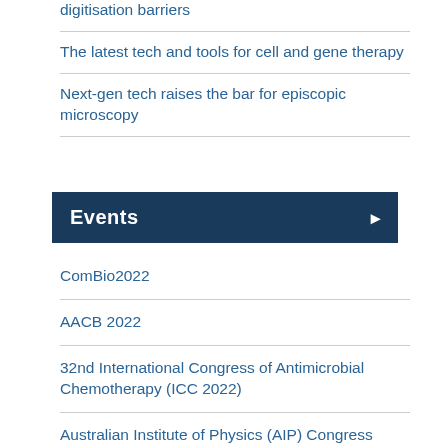digitisation barriers
The latest tech and tools for cell and gene therapy
Next-gen tech raises the bar for episcopic microscopy
Events
ComBio2022
AACB 2022
32nd International Congress of Antimicrobial Chemotherapy (ICC 2022)
Australian Institute of Physics (AIP) Congress